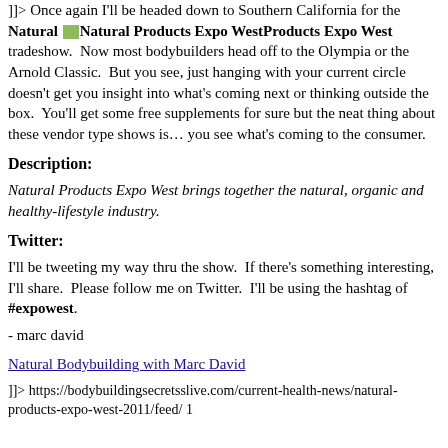]]> Once again I'll be headed down to Southern California for the Natural Products Expo West tradeshow. Now most bodybuilders head off to the Olympia or the Arnold Classic. But you see, just hanging with your current circle doesn't get you insight into what's coming next or thinking outside the box. You'll get some free supplements for sure but the neat thing about these vendor type shows is… you see what's coming to the consumer.
Description:
Natural Products Expo West brings together the natural, organic and healthy-lifestyle industry.
Twitter:
I'll be tweeting my way thru the show. If there's something interesting, I'll share. Please follow me on Twitter. I'll be using the hashtag of #expowest.
- marc david
Natural Bodybuilding with Marc David
]]> https://bodybuildingsecretsslive.com/current-health-news/natural-products-expo-west-2011/feed/ 1